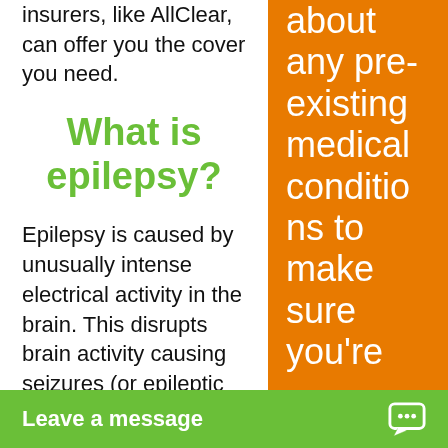insurers, like AllClear, can offer you the cover you need.
What is epilepsy?
Epilepsy is caused by unusually intense electrical activity in the brain. This disrupts brain activity causing seizures (or epileptic fits), the severity an
about any pre-existing medical conditions to make sure you're
Leave a message